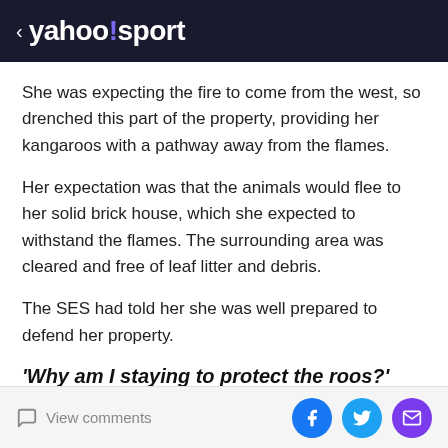< yahoo!sport
She was expecting the fire to come from the west, so drenched this part of the property, providing her kangaroos with a pathway away from the flames.
Her expectation was that the animals would flee to her solid brick house, which she expected to withstand the flames. The surrounding area was cleared and free of leaf litter and debris.
The SES had told her she was well prepared to defend her property.
'Why am I staying to protect the roos?'
View comments